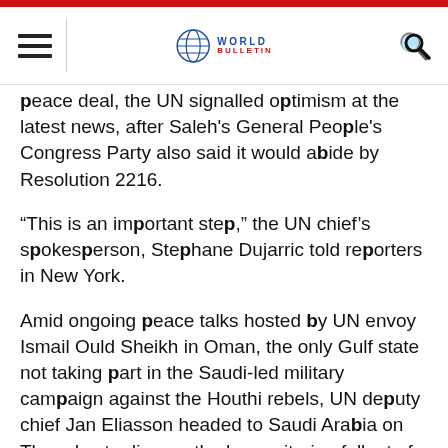World Bulletin
peace deal, the UN signalled optimism at the latest news, after Saleh's General People's Congress Party also said it would abide by Resolution 2216.
“This is an important step,” the UN chief’s spokesperson, Stephane Dujarric told reporters in New York.
Amid ongoing peace talks hosted by UN envoy Ismail Ould Sheikh in Oman, the only Gulf state not taking part in the Saudi-led military campaign against the Houthi rebels, UN deputy chief Jan Eliasson headed to Saudi Arabia on Thursday to discuss the humanitarian fallout of the conflict.
During over seven months of the war, which has seen allegations of human rights violations by both sides, over 2,700 civilians have been killed.